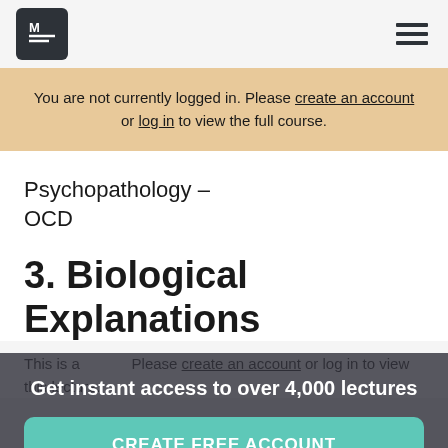M≡ [logo] | [hamburger menu]
You are not currently logged in. Please create an account or log in to view the full course.
Psychopathology – OCD
3. Biological Explanations
This is a preview. Please create an account or log in to view this lecture.
Get instant access to over 4,000 lectures
CREATE FREE ACCOUNT